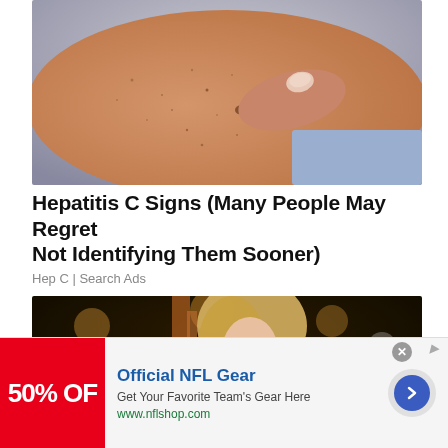[Figure (photo): Close-up photo of a hand pointing to a spot on skin, showing freckles and small spots on the arm/skin area]
Hepatitis C Signs (Many People May Regret Not Identifying Them Sooner)
Hep C | Search Ads
[Figure (photo): Photo of a blonde woman at a nighttime event with bokeh lights in the background]
[Figure (other): Advertisement banner: Official NFL Gear - Get Your Favorite Team's Gear Here - www.nflshop.com - with 50% OFF red badge image]